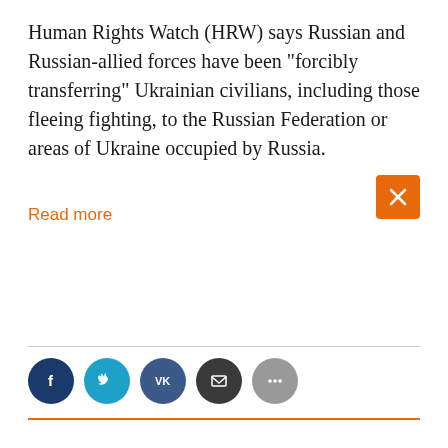Human Rights Watch (HRW) says Russian and Russian-allied forces have been "forcibly transferring" Ukrainian civilians, including those fleeing fighting, to the Russian Federation or areas of Ukraine occupied by Russia.
Read more
[Figure (other): Social media share icons: Facebook (dark blue circle with f), Twitter (teal circle with bird), VK (dark blue circle with VK), Email (dark circle with envelope), More (grey circle with three dots)]
September 01, 2022
By RFE/RL
Outgoing UN Rights Chief Blasts